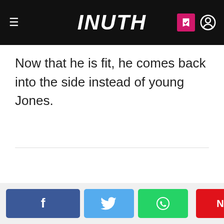INUTH
Now that he is fit, he comes back into the side instead of young Jones.
Share buttons: Facebook, Twitter, WhatsApp, NEXT